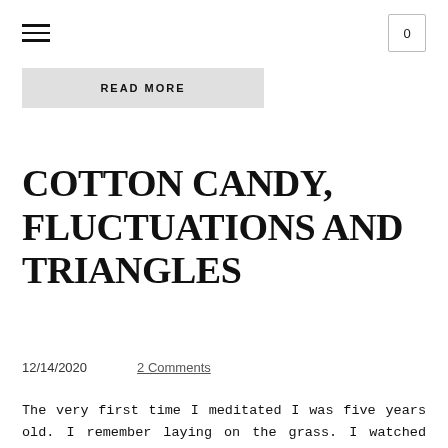≡   0
READ MORE
COTTON CANDY, FLUCTUATIONS AND TRIANGLES
12/14/2020     2 Comments
The very first time I meditated I was five years old. I remember laying on the grass. I watched the cotton candy clouds floating by slowly, peacefully. I closed my eyes and could feel the vibrations of the ground beneath me. I remember feeling